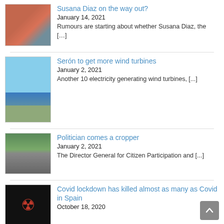Susana Diaz on the way out? | January 14, 2021 | Rumours are starting about whether Susana Diaz, the [...]
Serón to get more wind turbines | January 2, 2021 | Another 10 electricity generating wind turbines, [...]
Politician comes a cropper | January 2, 2021 | The Director General for Citizen Participation and [...]
Covid lockdown has killed almost as many as Covid in Spain | October 18, 2020
A distressing report emerges today from government [...]